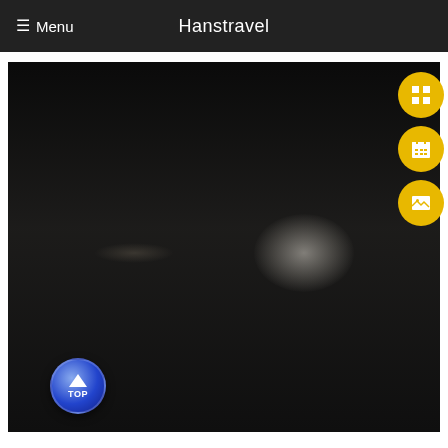☰ Menu   Hanstravel
[Figure (screenshot): Dark blurred photographic image used as website background, showing a dimly lit scene with blurred bokeh light effect in the center-right area. Three yellow circular icon buttons appear on the right side (grid/table icon, calendar icon, image icon). A blue circular TOP button appears at the bottom left of the image.]